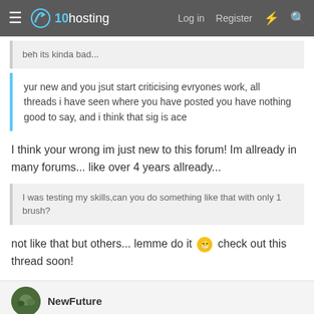x10hosting — Log in  Register
beh its kinda bad...
yur new and you jsut start criticising evryones work, all threads i have seen where you have posted you have nothing good to say, and i think that sig is ace
I think your wrong im just new to this forum! Im allready in many forums... like over 4 years allready...
I was testing my skills,can you do something like that with only 1 brush?
not like that but others... lemme do it 😀 check out this thread soon!
NewFuture